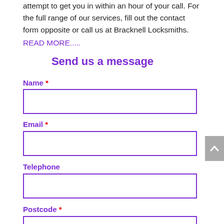attempt to get you in within an hour of your call. For the full range of our services, fill out the contact form opposite or call us at Bracknell Locksmiths. READ MORE.....
Send us a message
Name *
Email *
Telephone
Postcode *